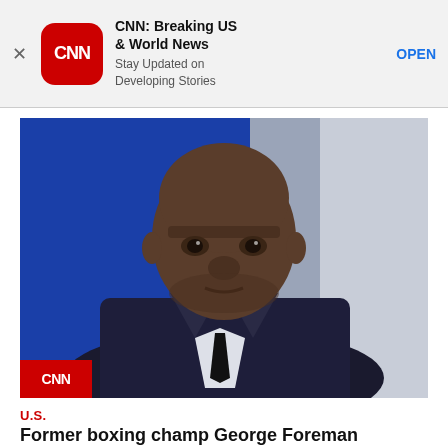[Figure (screenshot): CNN app advertisement banner with CNN logo, title 'CNN: Breaking US & World News', subtitle 'Stay Updated on Developing Stories', and OPEN button]
[Figure (photo): Photo of former boxing champion George Foreman in a dark suit and black tie, looking serious, with a blue background. CNN logo badge in lower left corner.]
U.S.
Former boxing champ George Foreman accused of